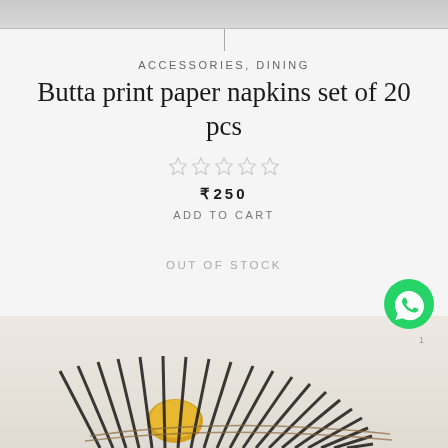[Figure (photo): Top gray image bar (cropped product photo)]
ACCESSORIES, DINING
Butta print paper napkins set of 20 pcs
[Figure (other): Five empty/unfilled star rating icons]
₹250
ADD TO CART
OUT OF STOCK
[Figure (photo): Product photo showing butta print paper napkins in a fan/basket arrangement with yellow fruits, black and white striped napkins]
[Figure (logo): WhatsApp green chat button icon]